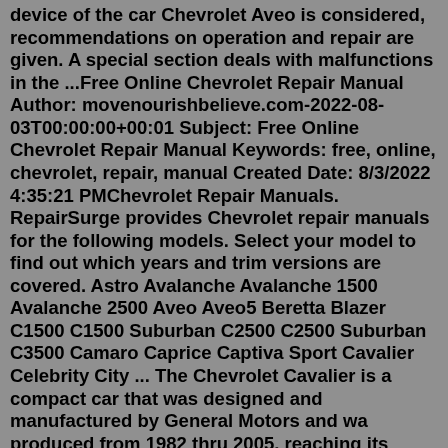device of the car Chevrolet Aveo is considered, recommendations on operation and repair are given. A special section deals with malfunctions in the ...Free Online Chevrolet Repair Manual Author: movenourishbelieve.com-2022-08-03T00:00:00+00:01 Subject: Free Online Chevrolet Repair Manual Keywords: free, online, chevrolet, repair, manual Created Date: 8/3/2022 4:35:21 PMChevrolet Repair Manuals. RepairSurge provides Chevrolet repair manuals for the following models. Select your model to find out which years and trim versions are covered. Astro Avalanche Avalanche 1500 Avalanche 2500 Aveo Aveo5 Beretta Blazer C1500 C1500 Suburban C2500 C2500 Suburban C3500 Camaro Caprice Captiva Sport Cavalier Celebrity City ... The Chevrolet Cavalier is a compact car that was designed and manufactured by General Motors and wa produced from 1982 thru 2005, reaching its highest sales in 1984. The car, whose body is built on the chassis of the Jplatform, was produced in three related generations. The vehicle model is available in several body styles